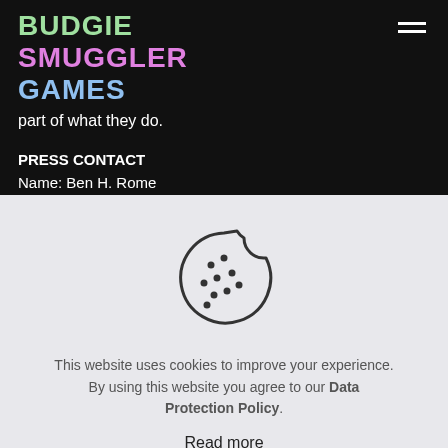BUDGIE SMUGGLER GAMES
part of what they do.
PRESS CONTACT
Name: Ben H. Rome
Email: submissions @ budgiesmugglergames.com
[Figure (illustration): Cookie icon: a round cookie with a bite taken out of the upper right, with several dots/chips scattered across it, rendered as a simple outline drawing.]
This website uses cookies to improve your experience. By using this website you agree to our Data Protection Policy.
Read more
Accept all